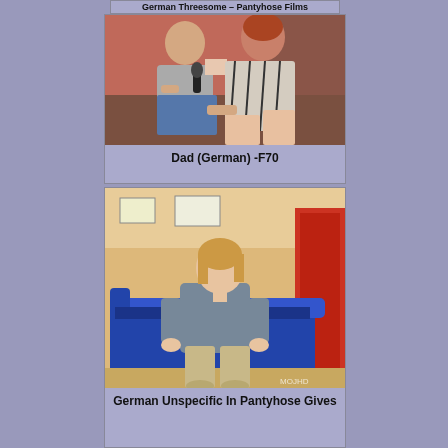[Figure (photo): Two people on a couch, indoor scene with red background]
Dad (German) -F70
[Figure (photo): Woman sitting on a blue couch in a room with orange walls and red door]
German Unspecific In Pantyhose Gives